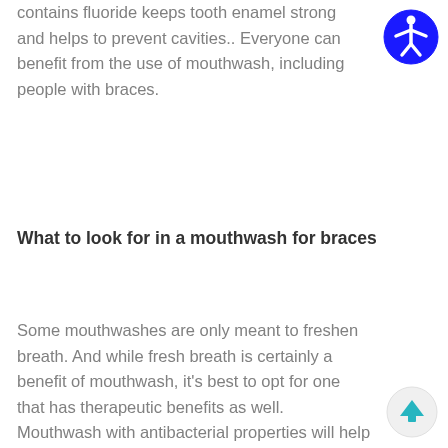contains fluoride keeps tooth enamel strong and helps to prevent cavities.. Everyone can benefit from the use of mouthwash, including people with braces.
[Figure (logo): Accessibility icon — blue circle with white human figure with arms and legs outstretched]
What to look for in a mouthwash for braces
Some mouthwashes are only meant to freshen breath. And while fresh breath is certainly a benefit of mouthwash, it's best to opt for one that has therapeutic benefits as well. Mouthwash with antibacterial properties will help decrease the risk of gum disease, and
[Figure (illustration): Scroll-to-top button — light gray circle with teal/cyan upward arrow]